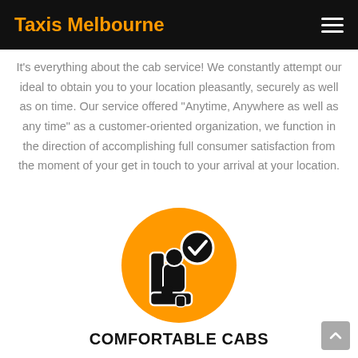Taxis Melbourne
It's everything about the cab service! We constantly attempt our ideal to obtain you to your location pleasantly, securely as well as on time. Our service offered “Anytime, Anywhere as well as any time” as a customer-oriented organization, we function in the direction of accomplishing full consumer satisfaction from the moment of your get in touch to your arrival at your location.
[Figure (illustration): Orange circle icon with a seated person and a checkmark badge, representing comfortable cab service.]
COMFORTABLE CABS